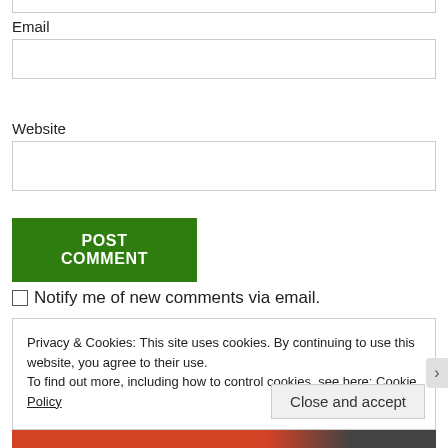Email
Website
POST COMMENT
Notify me of new comments via email.
Privacy & Cookies: This site uses cookies. By continuing to use this website, you agree to their use.
To find out more, including how to control cookies, see here: Cookie Policy
Close and accept